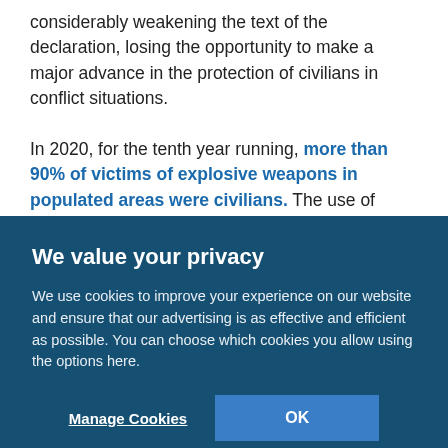considerably weakening the text of the declaration, losing the opportunity to make a major advance in the protection of civilians in conflict situations.

In 2020, for the tenth year running, more than 90% of victims of explosive weapons in populated areas were civilians. The use of explosive weapons in urban areas has systematic, predictable and devastating humanitarian consequences for civilian populations. These weapons kill and injure civilians, destroy vital infrastructure and force populations to flee, leaving behind unexploded
We value your privacy

We use cookies to improve your experience on our website and ensure that our advertising is as effective and efficient as possible. You can choose which cookies you allow using the options here.

Manage Cookies    OK